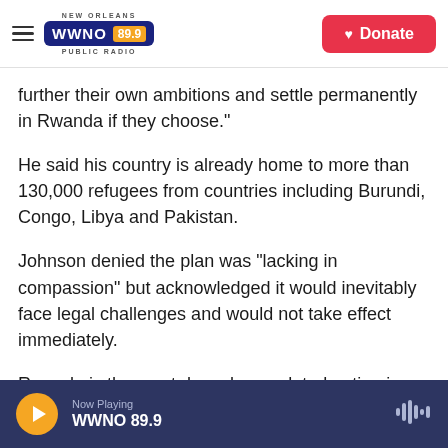NEW ORLEANS WWNO 89.9 PUBLIC RADIO — Donate
further their own ambitions and settle permanently in Rwanda if they choose."
He said his country is already home to more than 130,000 refugees from countries including Burundi, Congo, Libya and Pakistan.
Johnson denied the plan was "lacking in compassion" but acknowledged it would inevitably face legal challenges and would not take effect immediately.
Rwanda is the most densely populated nation in
Now Playing WWNO 89.9